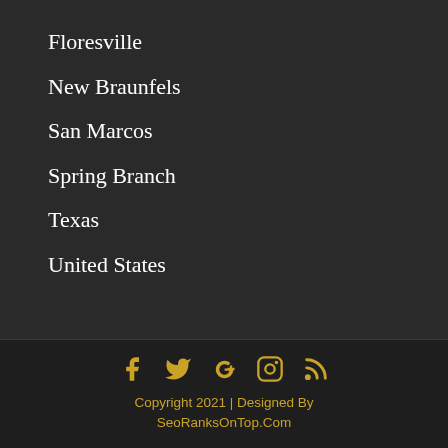Floresville
New Braunfels
San Marcos
Spring Branch
Texas
United States
Copyright 2021 | Designed By SeoRanksOnTop.Com